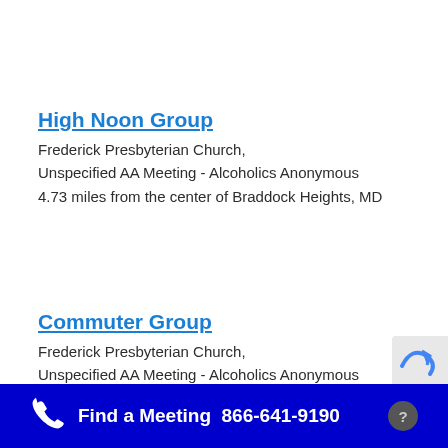High Noon Group
Frederick Presbyterian Church,
Unspecified AA Meeting - Alcoholics Anonymous
4.73 miles from the center of Braddock Heights, MD
Commuter Group
Frederick Presbyterian Church,
Unspecified AA Meeting - Alcoholics Anonymous
Find a Meeting  866-641-9190